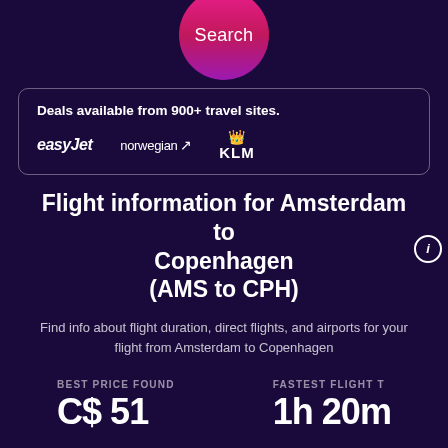[Figure (other): Pink/magenta gradient circular Search button]
Deals available from 900+ travel sites.
[Figure (other): Airline logos: easyJet, norwegian, KLM]
Flight information for Amsterdam to Copenhagen (AMS to CPH)
Find info about flight duration, direct flights, and airports for your flight from Amsterdam to Copenhagen
BEST PRICE FOUND  C$ 51
FASTEST FLIGHT T  1h 20m